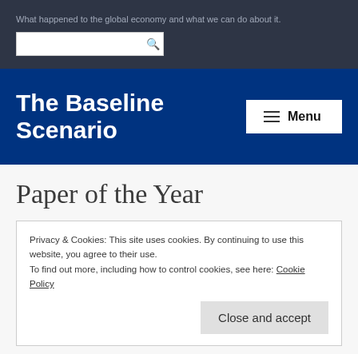What happened to the global economy and what we can do about it.
The Baseline Scenario
Paper of the Year
Privacy & Cookies: This site uses cookies. By continuing to use this website, you agree to their use.
To find out more, including how to control cookies, see here: Cookie Policy